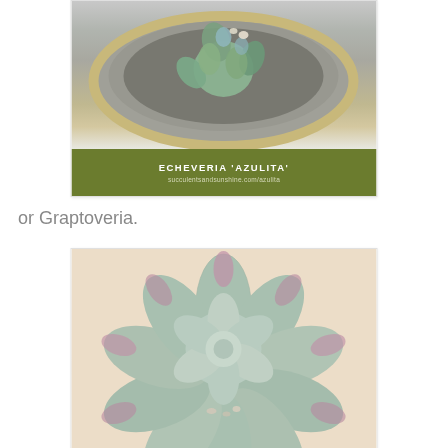[Figure (photo): Top-down photo of a succulent plant (Echeveria 'Azulita') in a pot, with a green label bar showing the plant name and website URL succulentsandsunshine.com/azulita]
or Graptoveria.
[Figure (photo): Close-up photo of a blue-green and purple-tipped succulent rosette (likely Graptoveria) viewed from above, against a warm beige background]